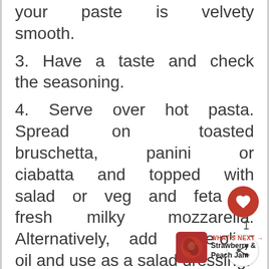your paste is velvety smooth.
3. Have a taste and check the seasoning.
4. Serve over hot pasta. Spread on toasted bruschetta, panini or ciabatta and topped with salad or veg and feta or fresh milky mozzarella. Alternatively, add more olive oil and use as a salad dressing.
notes: If you prefer a smooth texture, then...